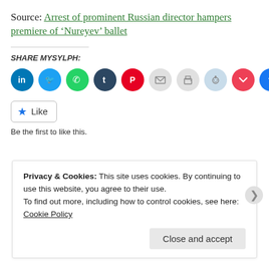Source: Arrest of prominent Russian director hampers premiere of ‘Nureyev’ ballet
SHARE MYSYLPH:
[Figure (other): Row of social media share icon buttons: LinkedIn (blue), Twitter (blue), WhatsApp (green), Tumblr (dark navy), Pinterest (red), Email (light gray), Print (light gray), Reddit (light blue/gray), Pocket (red), Facebook (blue)]
Like
Be the first to like this.
Privacy & Cookies: This site uses cookies. By continuing to use this website, you agree to their use.
To find out more, including how to control cookies, see here: Cookie Policy
Close and accept